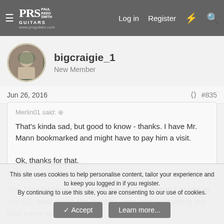PRS Paul Reed Smith Guitars www.prsguitars.com  Log in  Register
bigcraige_1
New Member
Jun 26, 2016  #835
Merlin01 said:
That's kinda sad, but good to know - thanks. I have Mr. Mann bookmarked and might have to pay him a visit.

Ok, thanks for that.
The Mann Made trem was the best upgrade I made to my SE, well worth the money. Also worth pointing out that even with all
This site uses cookies to help personalise content, tailor your experience and to keep you logged in if you register.
By continuing to use this site, you are consenting to our use of cookies.
Accept  Learn more...